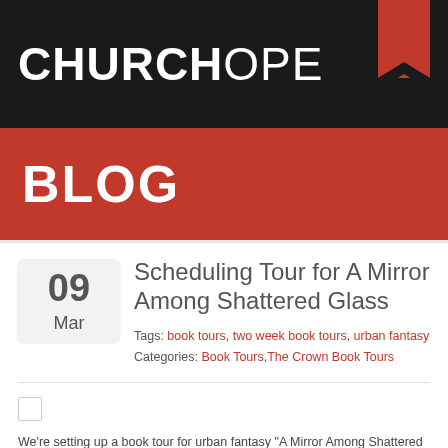CHURCHOPE
BLOG
Scheduling Tour for A Mirror Among Shattered Glass
Tags: book tours, two week book tours, urban fantasy
Categories: Book Tours, The Crown Book Tours
We're setting up a book tour for urban fantasy "A Mirror Among Shattered